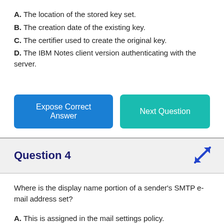A. The location of the stored key set.
B. The creation date of the existing key.
C. The certifier used to create the original key.
D. The IBM Notes client version authenticating with the server.
Question 4
Where is the display name portion of a sender's SMTP e-mail address set?
A. This is assigned in the mail settings policy.
B. This is assigned in email preferences in the IBM Notes client.